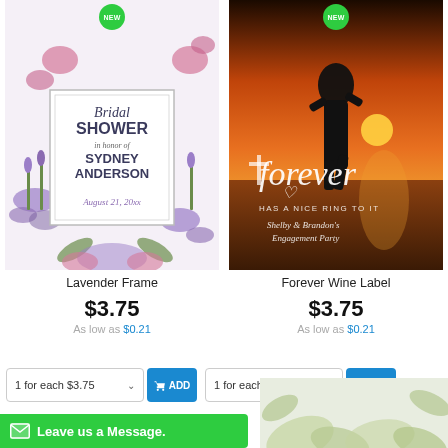[Figure (illustration): Bridal Shower invitation card with lavender and floral watercolor frame. Text reads: Bridal SHOWER in honor of SYDNEY ANDERSON August 21, 20xx. Green NEW badge at top.]
[Figure (photo): Forever wine label card showing couple silhouette at sunset. Text reads: forever HAS A NICE RING TO IT Shelby & Brandon's Engagement Party. Green NEW badge at top.]
Lavender Frame
Forever Wine Label
$3.75
As low as $0.21
$3.75
As low as $0.21
1 for each $3.75
1 for each $3.75
Leave us a Message.